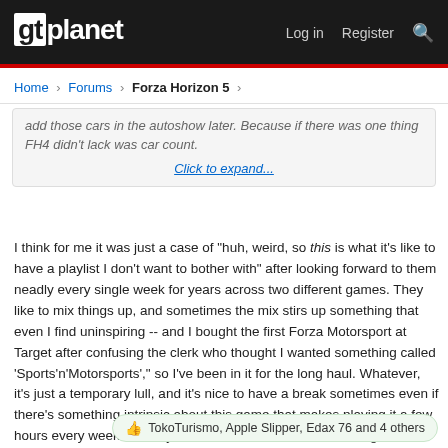gtplanet | Log in | Register
Home > Forums > Forza Horizon 5
add those cars in the autoshow later. Because if there was one thing FH4 didn't lack was car count. Click to expand...
I think for me it was just a case of "huh, weird, so this is what it's like to have a playlist I don't want to bother with" after looking forward to them neadly every single week for years across two different games. They like to mix things up, and sometimes the mix stirs up something that even I find uninspiring -- and I bought the first Forza Motorsport at Target after confusing the clerk who thought I wanted something called 'Sports'n'Motorsports'," so I've been in it for the long haul. Whatever, it's just a temporary lull, and it's nice to have a break sometimes even if there's something intrinsic about this game that makes playing it a few hours every week feel way more like classic "this is a video game" fun than a modern "this is Games As A Service" chore.
TokoTurismo, Apple Slipper, Edax 76 and 4 others